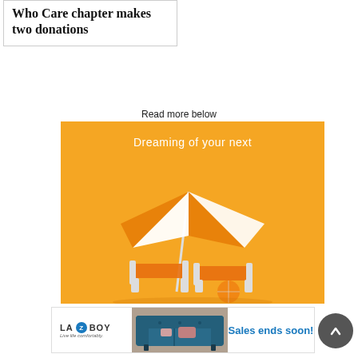Who Care chapter makes two donations
Read more below
[Figure (illustration): Orange advertisement banner with text 'Dreaming of your next' and a 3D rendered beach scene with orange and white striped umbrella and lounge chairs on an orange background]
[Figure (illustration): La-Z-Boy advertisement banner with logo, sofa image, and text 'Sales ends soon!']